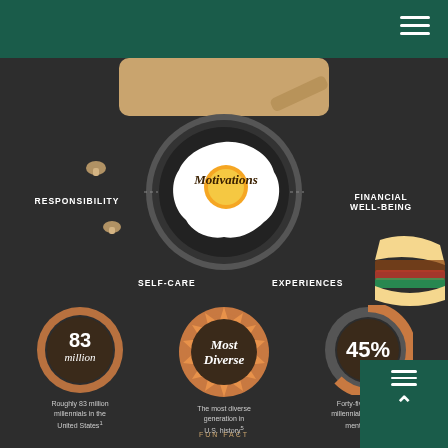[Figure (infographic): Dark background infographic about Millennials. Top section shows motivations (Responsibility, Financial Well-being, Self-care, Experiences) around a central fried egg graphic labeled 'Motivations'. Bottom section shows three circular badges: '83 million', 'Most Diverse', '45%'. Captions: 'Roughly 83 million millennials in the United States', 'The most diverse generation in U.S. history', 'Forty-five percent of millennials have a retirement account'. Fun fact label at bottom.]
RESPONSIBILITY
FINANCIAL WELL-BEING
Motivations
SELF-CARE
EXPERIENCES
83 million
Most Diverse
45%
Roughly 83 million millennials in the United States¹
The most diverse generation in U.S. history⁵
Forty-five percent of millennials have a retirement account³
FUN FACT